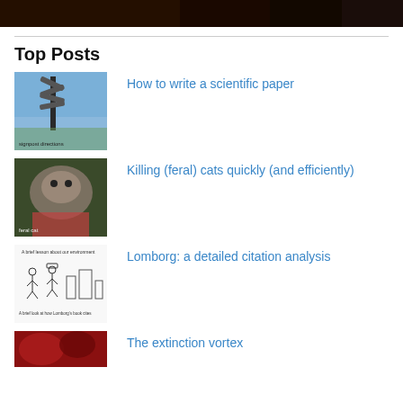[Figure (photo): Dark banner image at top of page, appears to be a composite of photos with dark brown/black tones]
Top Posts
[Figure (photo): Thumbnail image of directional signpost against blue sky]
How to write a scientific paper
[Figure (photo): Thumbnail image of a feral cat]
Killing (feral) cats quickly (and efficiently)
[Figure (illustration): Thumbnail image of a cartoon/diagram illustration with figures]
Lomborg: a detailed citation analysis
[Figure (photo): Thumbnail image with red tones, partially visible]
The extinction vortex